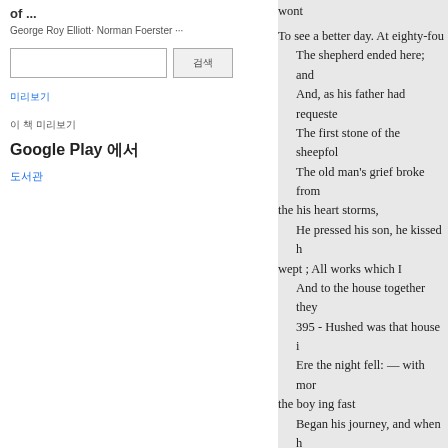of ...
George Roy Elliott · Norman Foerster ···
[search input and button]
미리보기 (Korean link text)
이 책 미리보기
Google Play 에서
도서관
wont
To see a better day. At eighty-fou
The shepherd ended here; and
And, as his father had requeste
The first stone of the sheepfol
The old man's grief broke from
the his heart storms,
He pressed his son, he kissed h
wept ; All works which I
And to the house together they
395 - Hushed was that house i
Ere the night fell: — with mor
the boy ing fast
Began his journey, and when h